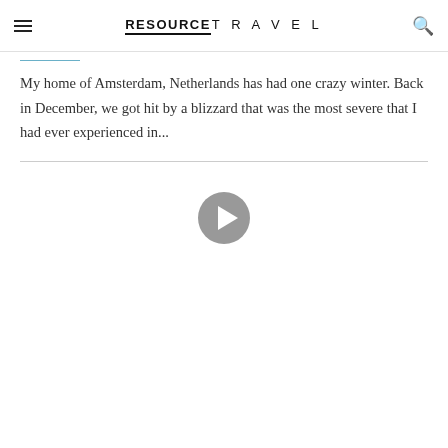RESOURCE TRAVEL
My home of Amsterdam, Netherlands has had one crazy winter. Back in December, we got hit by a blizzard that was the most severe that I had ever experienced in...
[Figure (other): Play button icon for a video player]